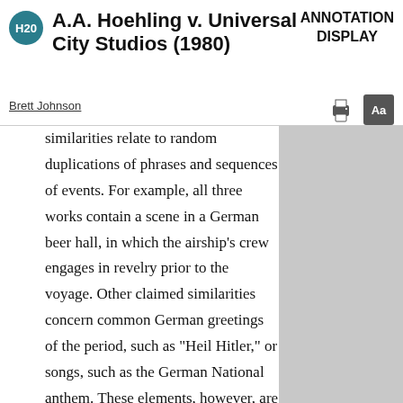A.A. Hoehling v. Universal City Studios (1980)
ANNOTATION DISPLAY
Brett Johnson
similarities relate to random duplications of phrases and sequences of events. For example, all three works contain a scene in a German beer hall, in which the airship's crew engages in revelry prior to the voyage. Other claimed similarities concern common German greetings of the period, such as "Heil Hitler," or songs, such as the German National anthem. These elements, however, are merely scenes a faire, that is, "incidents, characters or settings which are as a practical matter indispensable, or at least standard, in the treatment of a given